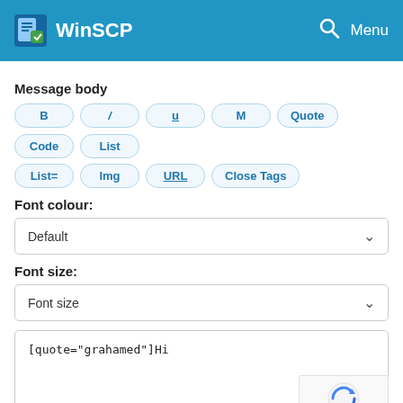WinSCP   Menu
Message body
[Figure (screenshot): BBCode formatting buttons: B, /, U (underlined), M, Quote, Code, List, List=, Img, URL (underlined), Close Tags]
Font colour:
Default (dropdown)
Font size:
Font size (dropdown)
[quote="grahamed"]Hi

Excellent program.  Thanks.